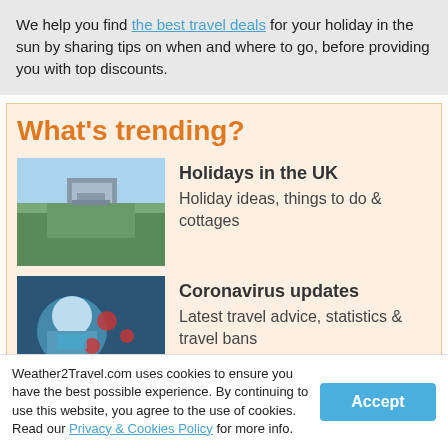We help you find the best travel deals for your holiday in the sun by sharing tips on when and where to go, before providing you with top discounts.
What's trending?
[Figure (photo): Photo of Windsor Castle with people walking on a green avenue]
Holidays in the UK
Holiday ideas, things to do & cottages
[Figure (photo): Photo of a woman wearing a face mask with coronavirus world map graphic]
Coronavirus updates
Latest travel advice, statistics & travel bans
[Figure (photo): Photo of a British passport with boarding passes]
Travel after Brexit
Key questions for visiting the EU
Weather2Travel.com uses cookies to ensure you have the best possible experience. By continuing to use this website, you agree to the use of cookies. Read our Privacy & Cookies Policy for more info.